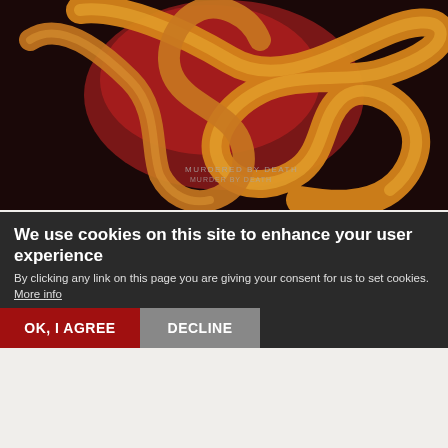[Figure (illustration): Album art showing intertwined snakes in orange and yellow tones against a dark red/black background. Small text reads 'MURDERED BY DEATH MURDER BY DEATH'.]
Americana Highways Best Americana Albums of 2018
Be in the Loop Best Albums of 2018
Matt Besser's Best Music Picks of 2018: Album of the Year
Noisey 100 Best Songs of 2018 ("Stone")
Dobbie Fulks & Linda Gail Lewis Wild! Wild! Wild!
We use cookies on this site to enhance your user experience
By clicking any link on this page you are giving your consent for us to set cookies. More info
OK, I AGREE   DECLINE